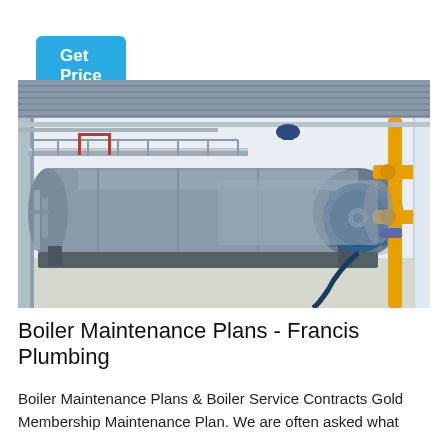Get Price
[Figure (photo): Industrial boiler equipment in a factory setting showing large cylindrical silver boiler with blue motor/burner attachment, yellow gas pipes on right side, metal catwalk above, concrete floor]
Boiler Maintenance Plans - Francis Plumbing
Boiler Maintenance Plans & Boiler Service Contracts Gold Membership Maintenance Plan. We are often asked what